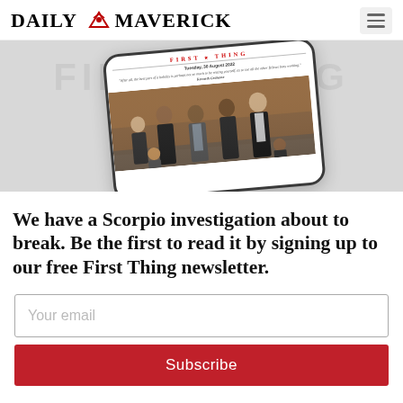DAILY MAVERICK
[Figure (screenshot): Smartphone displaying the Daily Maverick First Thing newsletter dated Tuesday, 30 August 2022, with a quote by Kenneth Grahame and a photo of several men in suits standing in what appears to be a courtroom or formal setting.]
We have a Scorpio investigation about to break. Be the first to read it by signing up to our free First Thing newsletter.